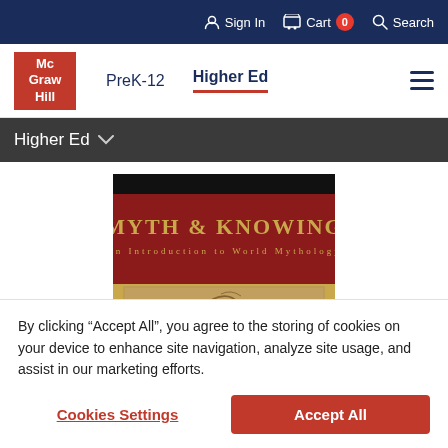Sign In  Cart 0  Search
[Figure (logo): McGraw Hill red logo box with white text]
PreK-12   Higher Ed
Higher Ed
[Figure (illustration): Book cover for 'Myth & Knowing: An Introduction to World Mythology' with dark red and gold design]
By clicking “Accept All”, you agree to the storing of cookies on your device to enhance site navigation, analyze site usage, and assist in our marketing efforts.
Cookies Settings   Accept All